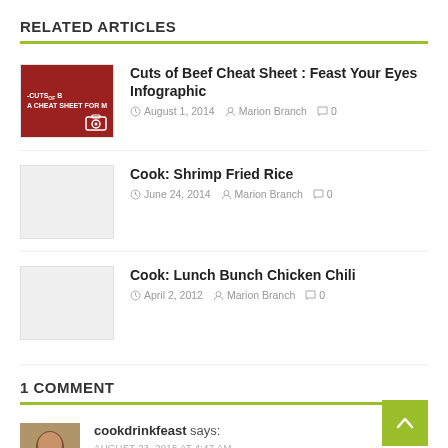RELATED ARTICLES
Cuts of Beef Cheat Sheet : Feast Your Eyes Infographic — August 1, 2014 — Marion Branch — 0 comments
Cook: Shrimp Fried Rice — June 24, 2014 — Marion Branch — 0 comments
Cook: Lunch Bunch Chicken Chili — April 2, 2012 — Marion Branch — 0 comments
1 COMMENT
cookdrinkfeast says:
AUGUST 23, 2015 AT 4:47 AM